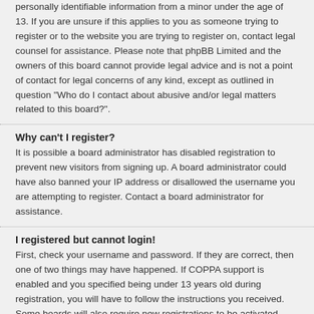personally identifiable information from a minor under the age of 13. If you are unsure if this applies to you as someone trying to register or to the website you are trying to register on, contact legal counsel for assistance. Please note that phpBB Limited and the owners of this board cannot provide legal advice and is not a point of contact for legal concerns of any kind, except as outlined in question "Who do I contact about abusive and/or legal matters related to this board?".
Why can't I register?
It is possible a board administrator has disabled registration to prevent new visitors from signing up. A board administrator could have also banned your IP address or disallowed the username you are attempting to register. Contact a board administrator for assistance.
I registered but cannot login!
First, check your username and password. If they are correct, then one of two things may have happened. If COPPA support is enabled and you specified being under 13 years old during registration, you will have to follow the instructions you received. Some boards will also require new registrations to be activated, either by yourself or by an administrator before you can logon; this information was present during registration. If you were sent an email, follow the instructions. If you did not receive an email, you may have provided an incorrect email address or the email may have been picked up by a spam filer. If you are sure the email address you provided is correct, try contacting an administrator.